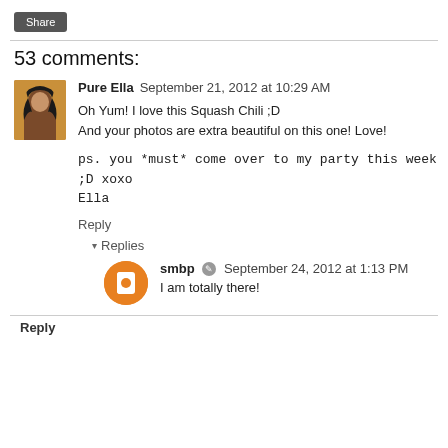[Figure (other): Share button (dark grey rounded rectangle)]
53 comments:
[Figure (photo): Avatar photo of Pure Ella - woman with long dark hair, yellow top]
Pure Ella  September 21, 2012 at 10:29 AM
Oh Yum! I love this Squash Chili ;D
And your photos are extra beautiful on this one! Love!

ps. you *must* come over to my party this week ;D xoxo
Ella
Reply
Replies
[Figure (other): Orange circle avatar with white Blogger 'B' icon for smbp]
smbp  September 24, 2012 at 1:13 PM
I am totally there!
Reply